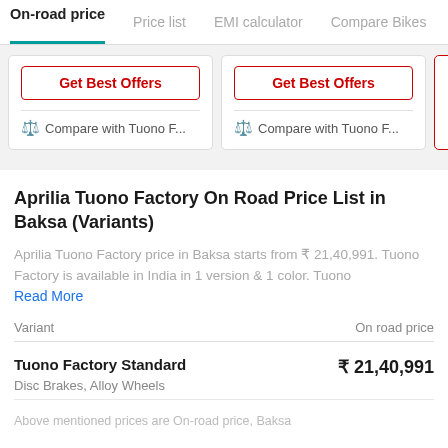On-road price | Price list | EMI calculator | Compare Bikes
Get Best Offers
Compare with Tuono F...
Get Best Offers
Compare with Tuono F...
Aprilia Tuono Factory On Road Price List in Baksa (Variants)
Aprilia Tuono Factory price in Baksa starts from ₹ 21,40,991. Tuono Factory is available in India in 1 version & 1 color. Tuono
Read More
| Variant | On road price |
| --- | --- |
| Tuono Factory Standard
Disc Brakes, Alloy Wheels | ₹21,40,991 |
Above mentioned prices are On-road price, Baksa